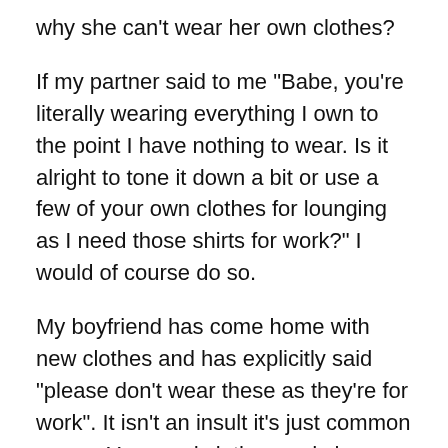why she can't wear her own clothes?
If my partner said to me "Babe, you're literally wearing everything I own to the point I have nothing to wear. Is it alright to tone it down a bit or use a few of your own clothes for lounging as I need those shirts for work?" I would of course do so.
My boyfriend has come home with new clothes and has explicitly said "please don't wear these as they're for work". It isn't an insult it's just common sense. You need clothes and she needs to not be so dramatic with throwing something in the wash after having it on for 5 minutes. Just tell